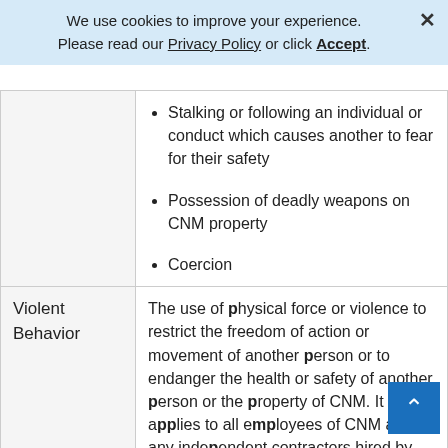We use cookies to improve your experience. Please read our Privacy Policy or click Accept.
| Category | Description |
| --- | --- |
|  | Stalking or following an individual or conduct which causes another to fear for their safety
Possession of deadly weapons on CNM property
Coercion |
| Violent Behavior | The use of physical force or violence to restrict the freedom of action or movement of another person or to endanger the health or safety of another person or the property of CNM. It applies to all employees of CNM and any independent contractors hired by |